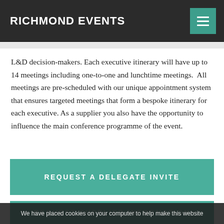RICHMOND EVENTS
L&D decision-makers. Each executive itinerary will have up to 14 meetings including one-to-one and lunchtime meetings. All meetings are pre-scheduled with our unique appointment system that ensures targeted meetings that form a bespoke itinerary for each executive. As a supplier you also have the opportunity to influence the main conference programme of the event.
REQUEST A DELEGATE INVITE
REQUEST SUPPLIER INFORMATION
We have placed cookies on your computer to help make this website